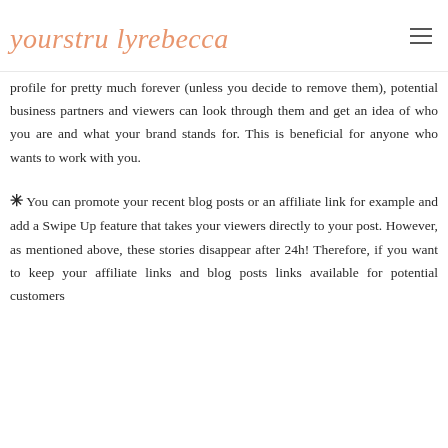yourstru lyrebecca
profile for pretty much forever (unless you decide to remove them), potential business partners and viewers can look through them and get an idea of who you are and what your brand stands for. This is beneficial for anyone who wants to work with you.
✳ You can promote your recent blog posts or an affiliate link for example and add a Swipe Up feature that takes your viewers directly to your post. However, as mentioned above, these stories disappear after 24h! Therefore, if you want to keep your affiliate links and blog posts links available for potential customers